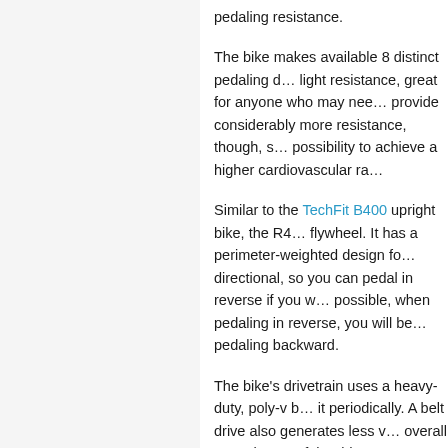pedaling resistance.
The bike makes available 8 distinct pedaling d… light resistance, great for anyone who may nee… provide considerably more resistance, though, s… possibility to achieve a higher cardiovascular ra…
Similar to the TechFit B400 upright bike, the R4… flywheel. It has a perimeter-weighted design fo… directional, so you can pedal in reverse if you w… possible, when pedaling in reverse, you will be… pedaling backward.
The bike's drivetrain uses a heavy-duty, poly-v b… it periodically. A belt drive also generates less v… overall smoothness of the ride.
The bike's crankset features cylindrical steel ar… for spin workouts or standing up on the pedals… design. They also feature a textured surface and…